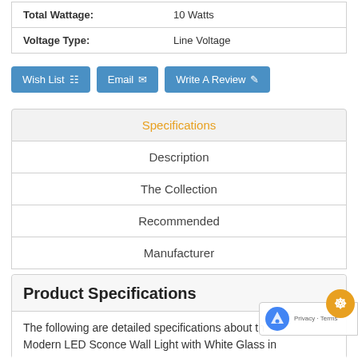| Total Wattage: | 10 Watts |
| Voltage Type: | Line Voltage |
Wish List
Email
Write A Review
Specifications
Description
The Collection
Recommended
Manufacturer
Product Specifications
The following are detailed specifications about the Modern LED Sconce Wall Light with White Glass in